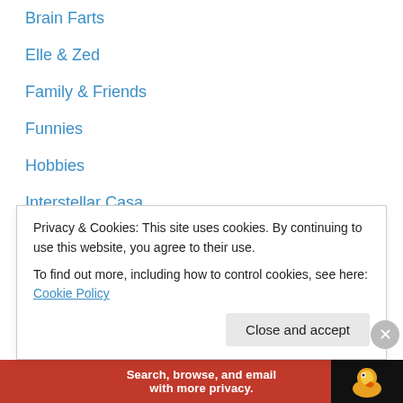Brain Farts
Elle & Zed
Family & Friends
Funnies
Hobbies
Interstellar Casa
Interstellar Travel
It's Me, Lass
Married Life
Memes & Quizzes
Mom Life
Mr. Wonderful
Poker Nights
Privacy & Cookies: This site uses cookies. By continuing to use this website, you agree to their use.
To find out more, including how to control cookies, see here: Cookie Policy
Search, browse, and email with more privacy.